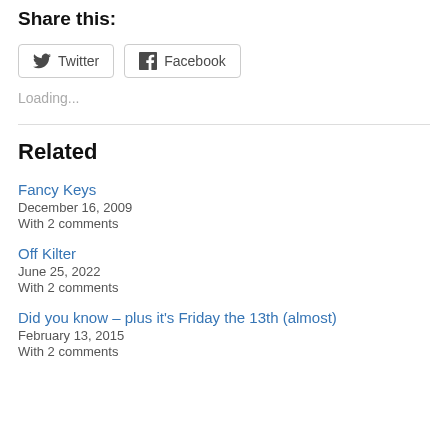Share this:
Twitter  Facebook
Loading...
Related
Fancy Keys
December 16, 2009
With 2 comments
Off Kilter
June 25, 2022
With 2 comments
Did you know – plus it's Friday the 13th (almost)
February 13, 2015
With 2 comments